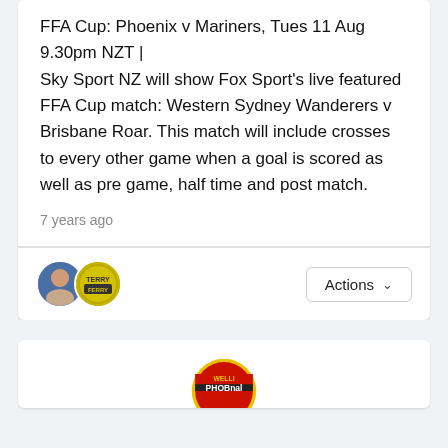FFA Cup: Phoenix v Mariners, Tues 11 Aug 9.30pm NZT |
Sky Sport NZ will show Fox Sport's live featured FFA Cup match: Western Sydney Wanderers v Brisbane Roar. This match will include crosses to every other game when a goal is scored as well as pre game, half time and post match.
7 years ago
[Figure (photo): Two user avatar circles partially overlapping; left avatar shows a person photo, right avatar shows a yellow/green circular logo with 'TERRY' text]
[Figure (logo): Partial view of a circular logo at bottom of page, yellow/red with text 'WELLI' and 'PHOBnal' visible]